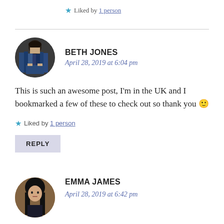★ Liked by 1 person
BETH JONES
April 28, 2019 at 6:04 pm
This is such an awesome post, I'm in the UK and I bookmarked a few of these to check out so thank you 🙂
★ Liked by 1 person
REPLY
EMMA JAMES
April 28, 2019 at 6:42 pm